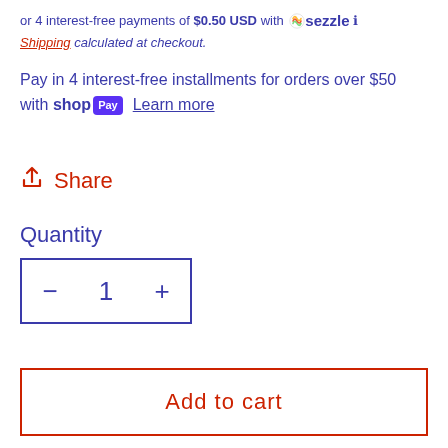or 4 interest-free payments of $0.50 USD with sezzle ℹ
Shipping calculated at checkout.
Pay in 4 interest-free installments for orders over $50 with shop Pay  Learn more
↑ Share
Quantity
− 1 +
Add to cart